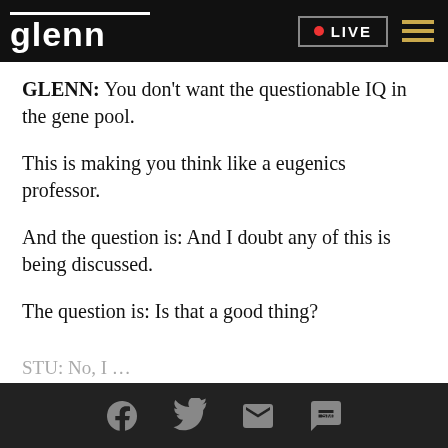glenn • LIVE
GLENN: You don't want the questionable IQ in the gene pool.
This is making you think like a eugenics professor.
And the question is: And I doubt any of this is being discussed.
The question is: Is that a good thing?
[Facebook] [Twitter] [Email] [SMS]